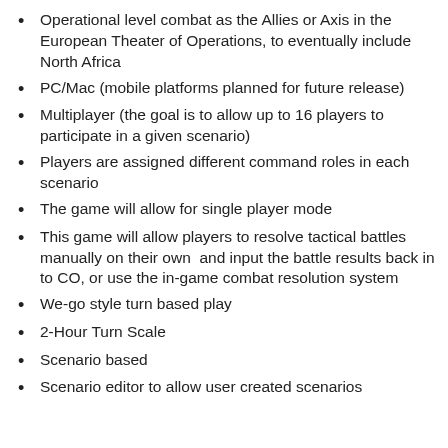Operational level combat as the Allies or Axis in the European Theater of Operations, to eventually include North Africa
PC/Mac (mobile platforms planned for future release)
Multiplayer (the goal is to allow up to 16 players to participate in a given scenario)
Players are assigned different command roles in each scenario
The game will allow for single player mode
This game will allow players to resolve tactical battles manually on their own  and input the battle results back in to CO, or use the in-game combat resolution system
We-go style turn based play
2-Hour Turn Scale
Scenario based
Scenario editor to allow user created scenarios